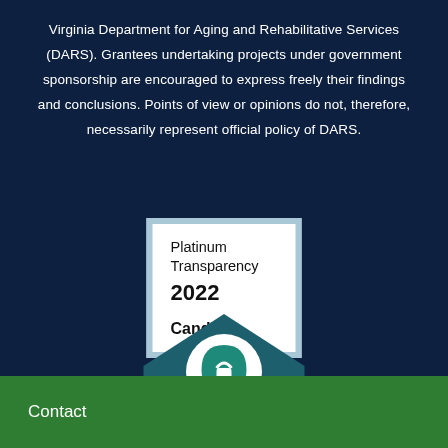Virginia Department for Aging and Rehabilitative Services (DARS). Grantees undertaking projects under government sponsorship are encouraged to express freely their findings and conclusions. Points of view or opinions do not, therefore, necessarily represent official policy of DARS.
[Figure (logo): Platinum Transparency 2022 Candid. badge - white box with light blue border containing text 'Platinum Transparency' in regular weight, '2022' in bold large text, and 'Candid.' in bold]
[Figure (logo): Member badge - dark teal pentagon/house shape with white arch/person icon at top and 'MEMBER' text in white on darker teal banner at bottom]
Contact